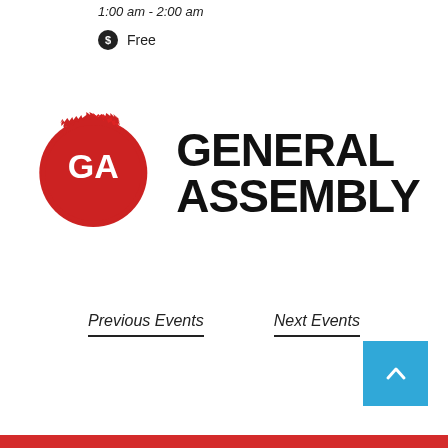1:00 am - 2:00 am
Free
[Figure (logo): General Assembly logo — red gear/badge with 'GA' text and 'GENERAL ASSEMBLY' in bold black text]
Previous Events
Next Events